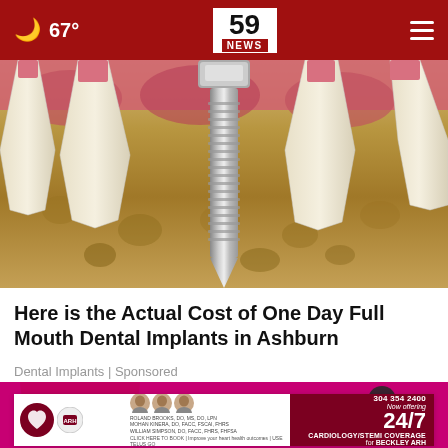67° | 59 NEWS
[Figure (photo): Medical illustration of dental implants in jawbone cross-section, showing a metal screw implant surrounded by natural tooth roots in bone tissue]
Here is the Actual Cost of One Day Full Mouth Dental Implants in Ashburn
Dental Implants | Sponsored
[Figure (photo): Person wearing pink/magenta clothing, partial view, with an ad overlay for Beckley ARH Cardiology/STEMI Coverage 24/7]
304 354 2400 | Now offering 24/7 CARDIOLOGY/STEMI COVERAGE for BECKLEY ARH